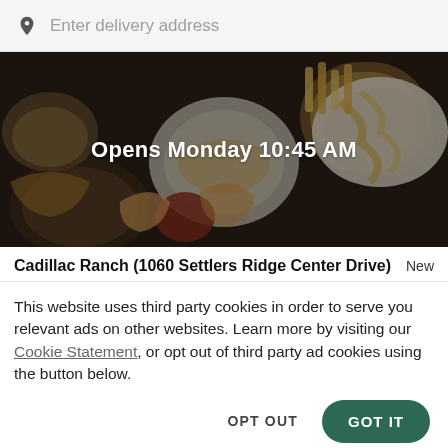Enter delivery address
[Figure (photo): Food delivery hero image showing various dishes on a dark table with overlay text 'Opens Monday 10:45 AM']
Cadillac Ranch (1060 Settlers Ridge Center Drive)
New
This website uses third party cookies in order to serve you relevant ads on other websites. Learn more by visiting our Cookie Statement, or opt out of third party ad cookies using the button below.
OPT OUT
GOT IT